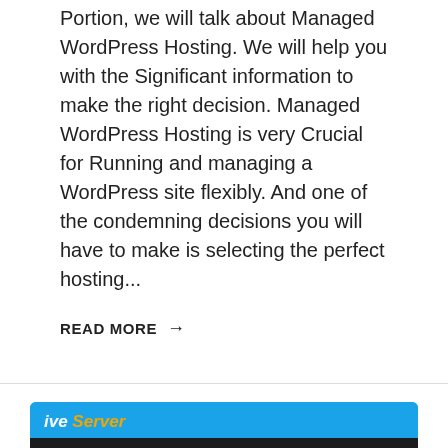Portion, we will talk about Managed WordPress Hosting. We will help you with the Significant information to make the right decision. Managed WordPress Hosting is very Crucial for Running and managing a WordPress site flexibly. And one of the condemning decisions you will have to make is selecting the perfect hosting...
READ MORE →
[Figure (infographic): Blue banner with 'ive Server' logo text in white and orange italic, a dark banner bar with text 'FASTEST WORDPRESS HOSTING' in white bold capitals, and two dark blue circles partially visible at the bottom on a blue background.]